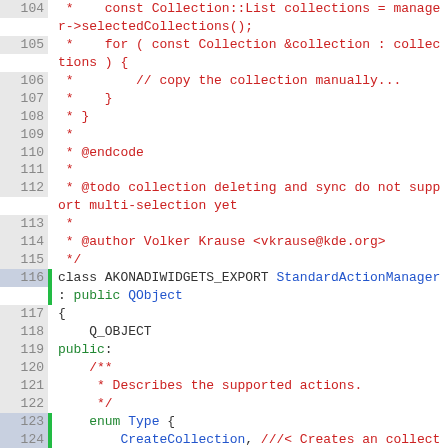[Figure (screenshot): Source code viewer showing C++ code lines 104-129 with line numbers, green gutters for changed lines, and syntax highlighting in red, blue, green, and dark colors.]